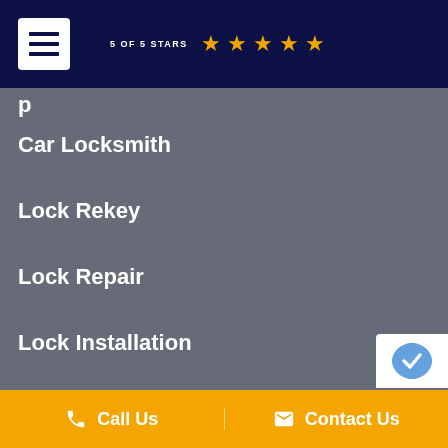[Figure (screenshot): Navigation menu button (hamburger icon) in white box on dark navy header]
5 OF 5 STARS ★★★★★
p
Car Locksmith
Lock Rekey
Lock Repair
Lock Installation
Call Us   Contact Us